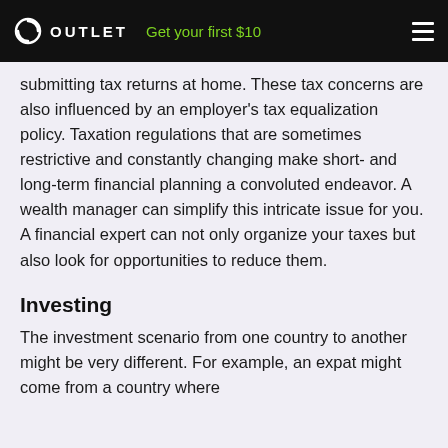OUTLET  Get your first $10
submitting tax returns at home. These tax concerns are also influenced by an employer's tax equalization policy. Taxation regulations that are sometimes restrictive and constantly changing make short- and long-term financial planning a convoluted endeavor. A wealth manager can simplify this intricate issue for you. A financial expert can not only organize your taxes but also look for opportunities to reduce them.
Investing
The investment scenario from one country to another might be very different. For example, an expat might come from a country where